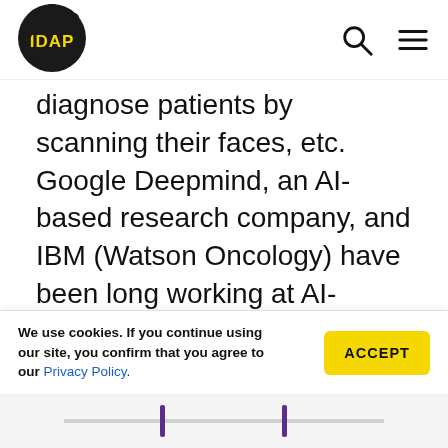[Figure (logo): IDAP logo: black circle with yellow text 'IDAP' inside]
diagnose patients by scanning their faces, etc. Google Deepmind, an AI-based research company, and IBM (Watson Oncology) have been long working at AI-powered software solutions in this area. AI is only on its way to the peak, and within the next decade, AI-powered algorithms will take care of the tasks that used to require human intelligence.
We use cookies. If you continue using our site, you confirm that you agree to our Privacy Policy.